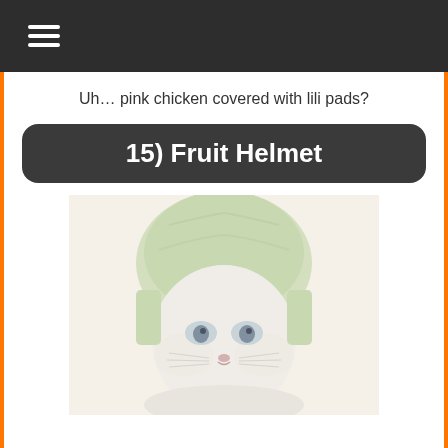☰ (menu icon)
Uh… pink chicken covered with lili pads?
15) Fruit Helmet
[Figure (photo): A white cat wearing a green fruit (melon/watermelon rind) as a helmet, looking grumpy, washed-out pale tones]